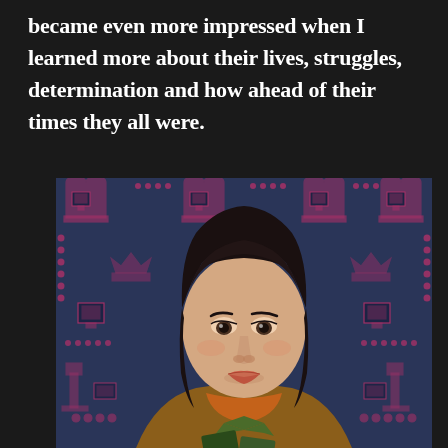became even more impressed when I learned more about their lives, struggles, determination and how ahead of their times they all were.
[Figure (illustration): Illustrated portrait of a woman with short dark hair and bangs, wearing an orange-brown jacket with a green bow, seated against a decorative dark blue patterned background featuring pink/magenta motifs of computers, crowns, buildings, and circular chain patterns.]